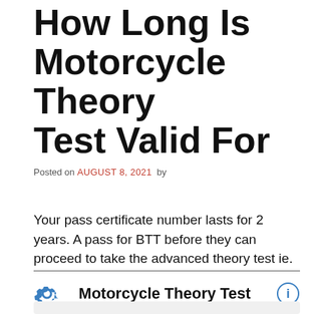How Long Is Motorcycle Theory Test Valid For
Posted on AUGUST 8, 2021 by
Your pass certificate number lasts for 2 years. A pass for BTT before they can proceed to take the advanced theory test ie.
[Figure (infographic): Widget bar with gear icon, bold text 'Motorcycle Theory Test', and info circle icon, followed by a content box below]